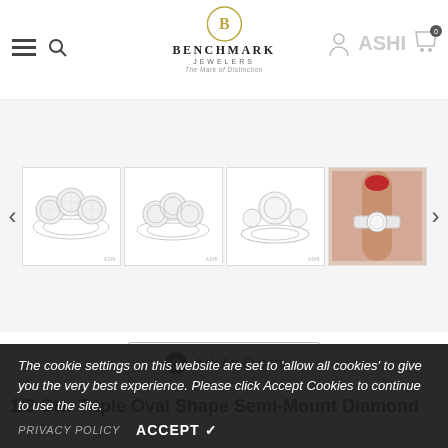Benchmark Jewelers — The Mark of Distinction
[Figure (photo): Product image gallery showing four views of a triple oval shape semi-mount diamond engagement ring: front view, angled front view, side profile view, and lifestyle shot on a finger.]
Ask An Expert
1/2 Ctw Triple Oval Shape Semi-Mount Diamond Engagement Ring
Designer: ASHI
SKU: 267K3BHADFHWG-SM
Product Type: Rings
The cookie settings on this website are set to 'allow all cookies' to give you the very best experience. Please click Accept Cookies to continue to use the site.
PRIVACY POLICY   ACCEPT ✓